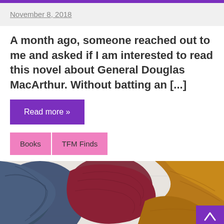November 8, 2018
A month ago, someone reached out to me and asked if I am interested to read this novel about General Douglas MacArthur. Without batting an [...]
Read more »
Books   TFM Finds
[Figure (photo): Flat lay photo of clothing items on a white wooden surface: navy blue fabric on the left, dark maroon/burgundy knit hat in the center, and mustard yellow knit items on the right. A purple back-to-top button with a caret/chevron arrow is visible in the bottom right corner.]